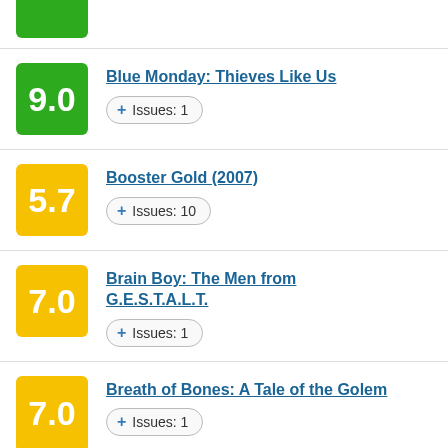Blue Monday: Thieves Like Us — 9.0 — Issues: 1
Booster Gold (2007) — 5.7 — Issues: 10
Brain Boy: The Men from G.E.S.T.A.L.T. — 7.0 — Issues: 1
Breath of Bones: A Tale of the Golem — 7.0 — Issues: 1